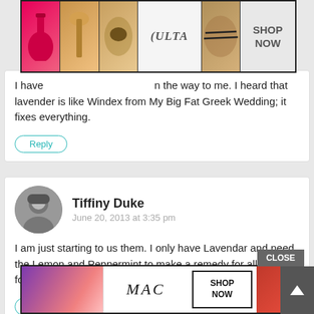[Figure (other): Ulta beauty advertisement banner with makeup images and SHOP NOW text]
I have [something] on the way to me. I heard that lavender is like Windex from My Big Fat Greek Wedding; it fixes everything.
Reply
[Figure (photo): Profile photo of Tiffiny Duke, black and white]
Tiffiny Duke
June 20, 2013 at 3:35 pm
I am just starting to us them. I only have Lavendar and need the Lemon and Peppermint to make a remedy for allergies for my six year old.
Reply
CLOSE
[Figure (other): MAC cosmetics advertisement banner with lipsticks and SHOP NOW text]